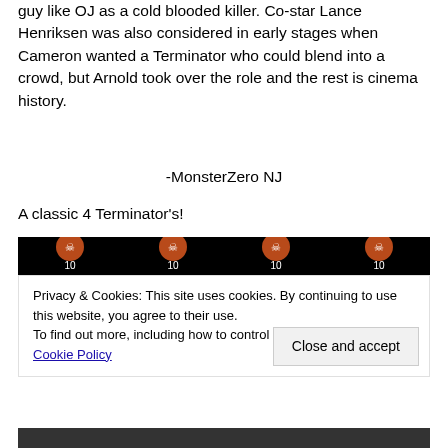guy like OJ as a cold blooded killer. Co-star Lance Henriksen was also considered in early stages when Cameron wanted a Terminator who could blend into a crowd, but Arnold took over the role and the rest is cinema history.
-MonsterZero NJ
A classic 4 Terminator's!
[Figure (photo): Black background with four skull/terminator face images in a row, each with the number 10 beneath them]
Privacy & Cookies: This site uses cookies. By continuing to use this website, you agree to their use.
To find out more, including how to control cookies, see here: Cookie Policy
Close and accept